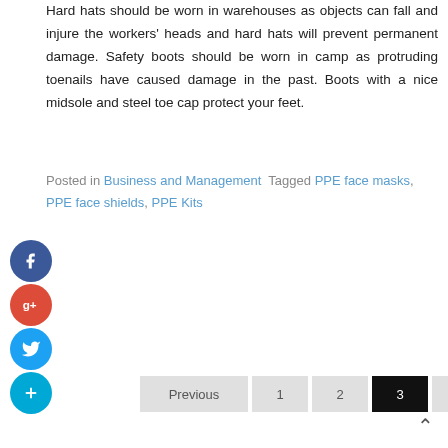Hard hats should be worn in warehouses as objects can fall and injure the workers' heads and hard hats will prevent permanent damage. Safety boots should be worn in camp as protruding toenails have caused damage in the past. Boots with a nice midsole and steel toe cap protect your feet.
Posted in Business and Management  Tagged PPE face masks, PPE face shields, PPE Kits
[Figure (other): Social media share icons: Facebook (blue circle with f), Google+ (red circle with g+), Twitter (blue circle with bird), and a blue circle with + symbol]
Previous  1  2  3  4  Next